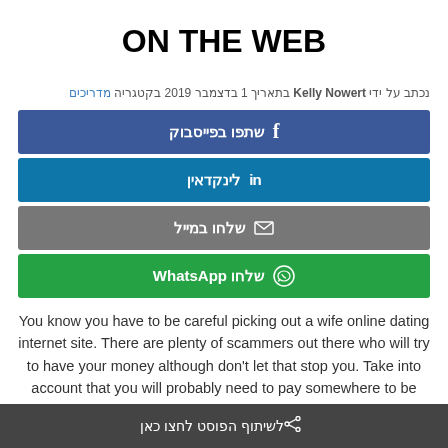ON THE WEB
נכתב על ידי Kelly Nowert בתאריך 1 בדצמבר 2019 בקטגריה מדריכים
שתפו בפייסבוק
לינקדאין
שלחו במייל
שלחו WhatsApp
You know you have to be careful picking out a wife online dating internet site. There are plenty of scammers out there who will try to have your money although don't let that stop you. Take into account that you will probably need to pay somewhere to be able to access the site, but it will probably
לשיתוף הפוסט לחצו כאן